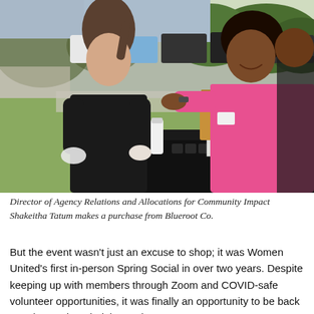[Figure (photo): Outdoor event scene showing a woman in black clothing and gloves leaning over a black-draped table with products, receiving or handing a brown paper bag to a woman in a pink dress. A white water bottle and various small dark products are on the table. A sign reading 'BLUEROOT' is visible. Background shows a parking lot with cars and green trees.]
Director of Agency Relations and Allocations for Community Impact Shakeitha Tatum makes a purchase from Blueroot Co.
But the event wasn't just an excuse to shop; it was Women United's first in-person Spring Social in over two years. Despite keeping up with members through Zoom and COVID-safe volunteer opportunities, it was finally an opportunity to be back together and remind themselves